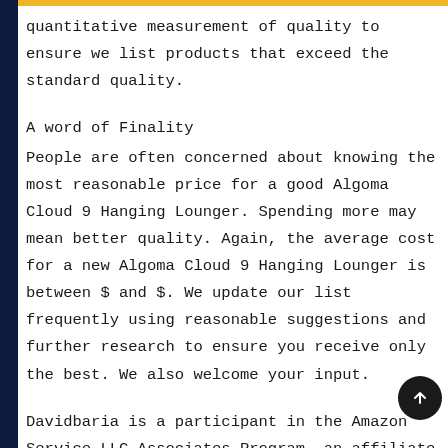quantitative measurement of quality to ensure we list products that exceed the standard quality.
A word of Finality
People are often concerned about knowing the most reasonable price for a good Algoma Cloud 9 Hanging Lounger. Spending more may mean better quality. Again, the average cost for a new Algoma Cloud 9 Hanging Lounger is between $ and $. We update our list frequently using reasonable suggestions and further research to ensure you receive only the best. We also welcome your input.
Davidbaria is a participant in the Amazon Service LLC Associates Program, an affiliate advertising